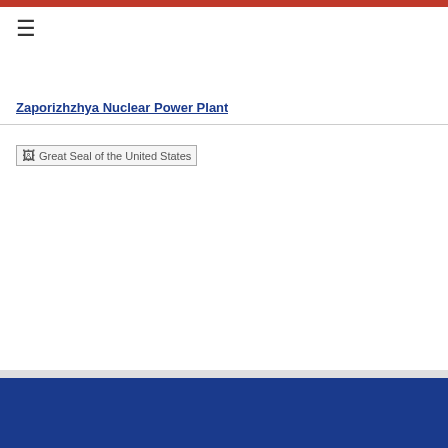≡
Zaporizhzhya Nuclear Power Plant
[Figure (logo): Great Seal of the United States (broken image placeholder)]
Ambassador Mark Brzezinski's Interview with TVN24